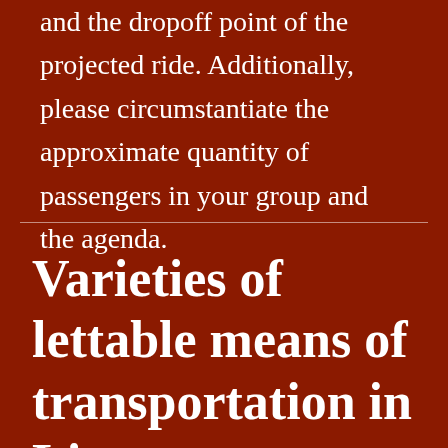and the dropoff point of the projected ride. Additionally, please circumstantiate the approximate quantity of passengers in your group and the agenda.
Varieties of lettable means of transportation in Livorno